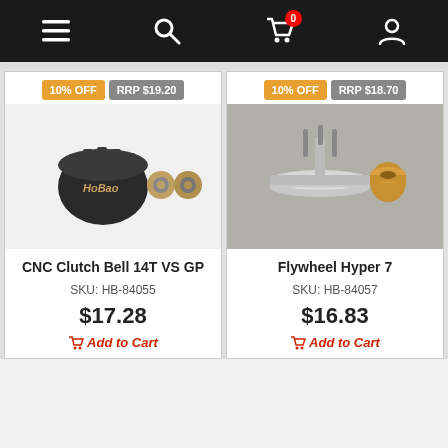Navigation bar with menu, search, cart (0 items), and account icons
[Figure (photo): CNC Clutch Bell 14T VS GP product photo showing black gear bell with two small bearings]
10% OFF  RRP $19.20
CNC Clutch Bell 14T VS GP
SKU: HB-84055
$17.28
Add to Cart
[Figure (photo): Flywheel Hyper 7 product photo showing silver disc flywheel component with gold bushing]
10% OFF  RRP $18.70
Flywheel Hyper 7
SKU: HB-84057
$16.83
Add to Cart